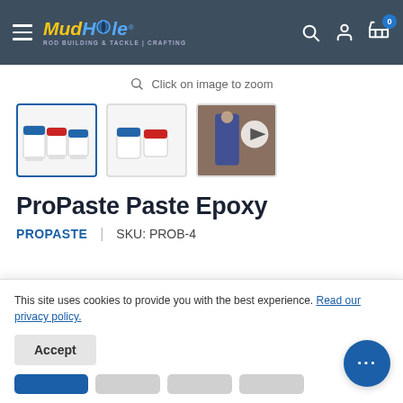Mud Hole — Rod Building & Tackle | Crafting
Click on image to zoom
[Figure (photo): Three thumbnail product images: jars of ProPaste Paste Epoxy (two views) and a video thumbnail showing a person demonstrating the product]
ProPaste Paste Epoxy
PROPASTE  |  SKU: PROB-4
This site uses cookies to provide you with the best experience. Read our privacy policy.
Accept